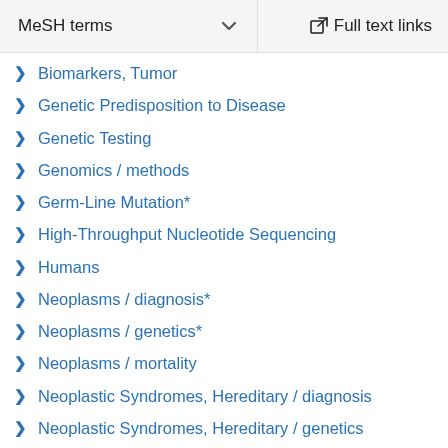MeSH terms  ∨    Full text links
Biomarkers, Tumor
Genetic Predisposition to Disease
Genetic Testing
Genomics / methods
Germ-Line Mutation*
High-Throughput Nucleotide Sequencing
Humans
Neoplasms / diagnosis*
Neoplasms / genetics*
Neoplasms / mortality
Neoplastic Syndromes, Hereditary / diagnosis
Neoplastic Syndromes, Hereditary / genetics
Prognosis
Substances
Biomarkers, Tumor